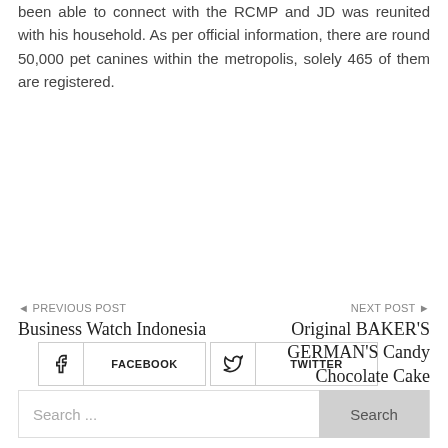been able to connect with the RCMP and JD was reunited with his household. As per official information, there are round 50,000 pet canines within the metropolis, solely 465 of them are registered.
[Figure (infographic): Social media share buttons: Facebook, Twitter, Pinterest, LinkedIn arranged in a 2x2 grid with icons]
◄ PREVIOUS POST
Business Watch Indonesia
NEXT POST ►
Original BAKER'S GERMAN'S Candy Chocolate Cake
Search ...  Search